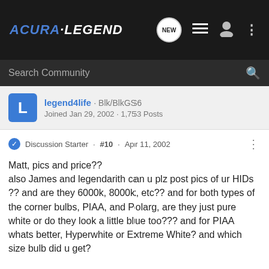[Figure (logo): Acura-Legend forum logo in blue and white italic bold text on dark background with navigation icons]
[Figure (screenshot): Search Community input bar with magnifying glass icon on dark background]
legend4life · Blk/BlkGS6
Joined Jan 29, 2002 · 1,753 Posts
Discussion Starter · #10 · Apr 11, 2002
Matt, pics and price??
also James and legendarith can u plz post pics of ur HIDs ?? and are they 6000k, 8000k, etc?? and for both types of the corner bulbs, PIAA, and Polarg, are they just pure white or do they look a little blue too??? and for PIAA whats better, Hyperwhite or Extreme White? and which size bulb did u get?

please answer all my questions, thanks alot guys 🙂
[Figure (infographic): Bitdefender advertisement: Avoid identity theft while shopping online - LEARN MORE button]